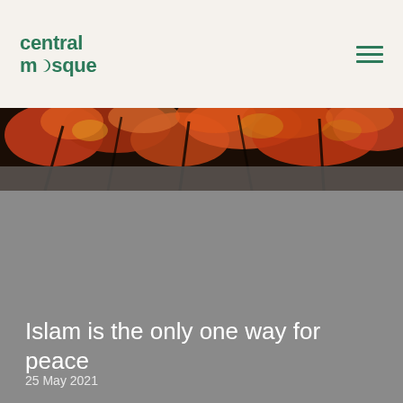[Figure (logo): Central Mosque logo with crescent moon replacing 'o' in mosque, in dark teal/green color]
[Figure (photo): Autumn tree foliage with red and orange leaves viewed from below against the sky]
Islam is the only one way for peace
25 May 2021